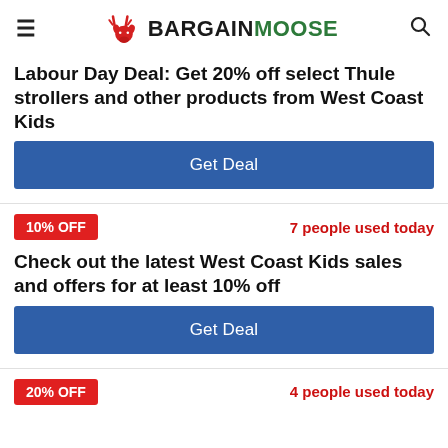BARGAINMOOSE
Labour Day Deal: Get 20% off select Thule strollers and other products from West Coast Kids
Get Deal
10% OFF
7 people used today
Check out the latest West Coast Kids sales and offers for at least 10% off
Get Deal
20% OFF
4 people used today